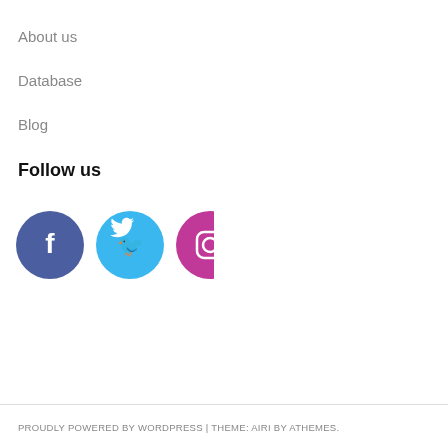About us
Database
Blog
Follow us
[Figure (illustration): Three social media icon circles: Facebook (dark blue), Twitter (light blue), Instagram (magenta/pink)]
PROUDLY POWERED BY WORDPRESS | THEME: AIRI BY ATHEMES.